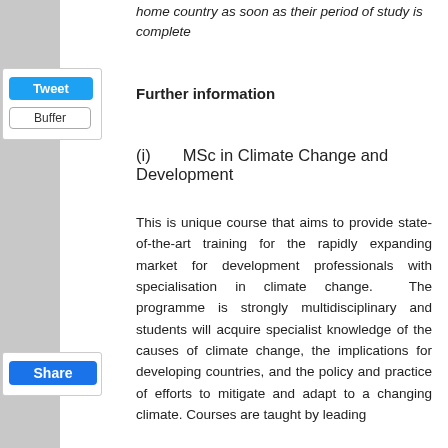home country as soon as their period of study is complete
Further information
(i)    MSc in Climate Change and Development
This is unique course that aims to provide state-of-the-art training for the rapidly expanding market for development professionals with specialisation in climate change.  The programme is strongly multidisciplinary and students will acquire specialist knowledge of the causes of climate change, the implications for developing countries, and the policy and practice of efforts to mitigate and adapt to a changing climate. Courses are taught by leading